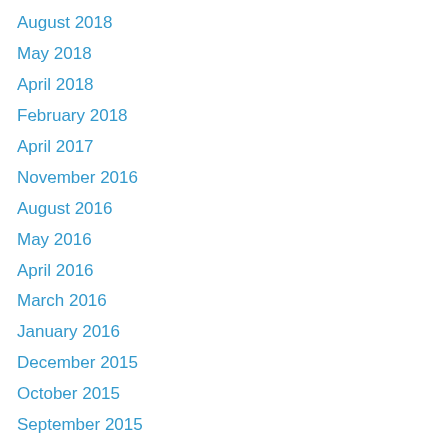August 2018
May 2018
April 2018
February 2018
April 2017
November 2016
August 2016
May 2016
April 2016
March 2016
January 2016
December 2015
October 2015
September 2015
August 2015
June 2015
May 2015
April 2015
March 2015
February 2015